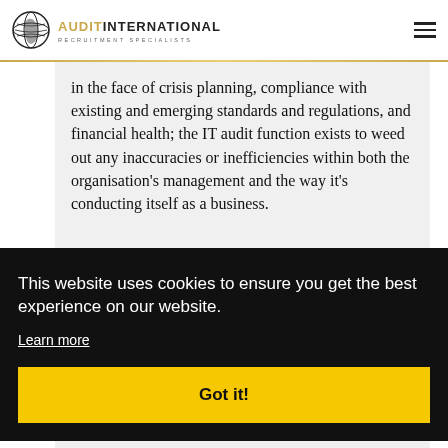AUDIT INTERNATIONAL — RECRUITMENT SPECIALISTS
in the face of crisis planning, compliance with existing and emerging standards and regulations, and financial health; the IT audit function exists to weed out any inaccuracies or inefficiencies within both the organisation's management and the way it's conducting itself as a business.
This website uses cookies to ensure you get the best experience on our website.
Learn more
Got it!
Calling